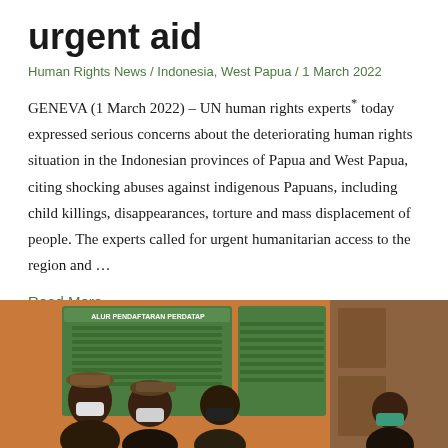urgent aid
Human Rights News / Indonesia, West Papua / 1 March 2022
GENEVA (1 March 2022) – UN human rights experts* today expressed serious concerns about the deteriorating human rights situation in the Indonesian provinces of Papua and West Papua, citing shocking abuses against indigenous Papuans, including child killings, disappearances, torture and mass displacement of people. The experts called for urgent humanitarian access to the region and …
Read More »
[Figure (photo): People wearing face masks seated indoors in front of banners reading 'ALUR PENDAFTARAN PERDATAP' in a green-themed registration or meeting setting.]